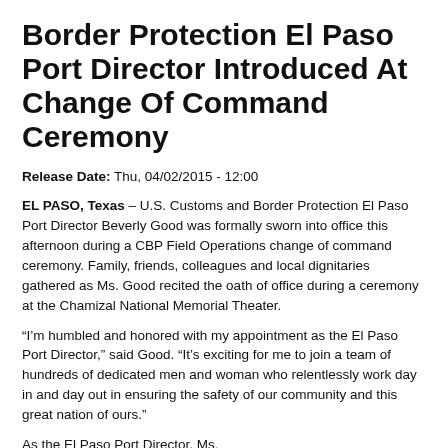Border Protection El Paso Port Director Introduced At Change Of Command Ceremony
Release Date: Thu, 04/02/2015 - 12:00
EL PASO, Texas – U.S. Customs and Border Protection El Paso Port Director Beverly Good was formally sworn into office this afternoon during a CBP Field Operations change of command ceremony. Family, friends, colleagues and local dignitaries gathered as Ms. Good recited the oath of office during a ceremony at the Chamizal National Memorial Theater.
“I’m humbled and honored with my appointment as the El Paso Port Director,” said Good. “It’s exciting for me to join a team of hundreds of dedicated men and woman who relentlessly work day in and day out in ensuring the safety of our community and this great nation of ours.”
As the El Paso Port Director, Ms.